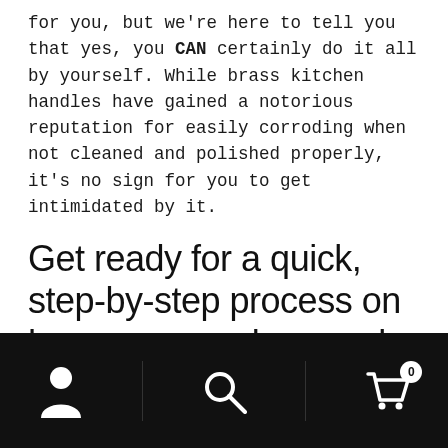for you, but we're here to tell you that yes, you CAN certainly do it all by yourself. While brass kitchen handles have gained a notorious reputation for easily corroding when not cleaned and polished properly, it's no sign for you to get intimidated by it.
Get ready for a quick, step-by-step process on how you can clean and polish your own brass kitchen handles.
[Figure (other): Black navigation bar with three icons: person/account icon on the left, search magnifying glass icon in the center, and shopping cart icon with badge showing '0' on the right. Two vertical dividers separate the icons.]